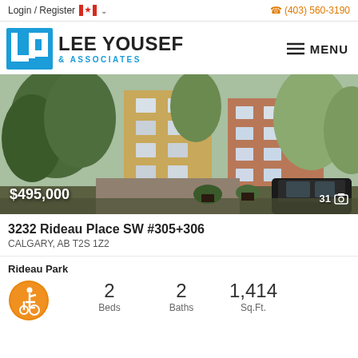Login / Register  (403) 560-3190
[Figure (logo): Lee Yousef & Associates real estate logo with blue LY icon and bold text]
[Figure (photo): Exterior photo of a multi-storey residential apartment building surrounded by trees]
$495,000
31 photos
3232 Rideau Place SW #305+306
CALGARY, AB T2S 1Z2
Rideau Park
2 Beds   2 Baths   1,414 Sq.Ft.